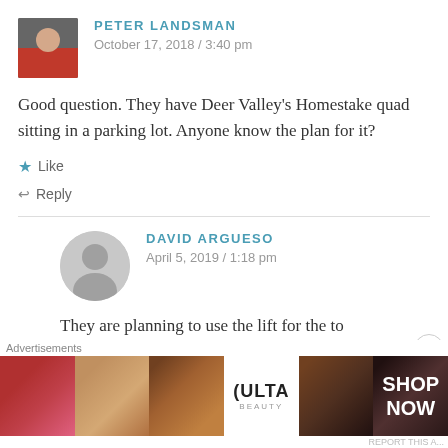[Figure (photo): Avatar photo of Peter Landsman in red jacket]
PETER LANDSMAN
October 17, 2018 / 3:40 pm
Good question. They have Deer Valley's Homestake quad sitting in a parking lot. Anyone know the plan for it?
Like
Reply
[Figure (photo): Default avatar silhouette for David Argueso]
DAVID ARGUESO
April 5, 2019 / 1:18 pm
They are planning to use the lift for the to
Advertisements
[Figure (photo): Ulta Beauty advertisement banner showing makeup and cosmetics with SHOP NOW text]